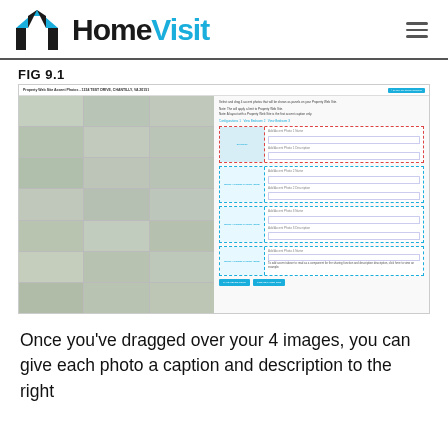HomeVisit
FIG 9.1
[Figure (screenshot): Screenshot of HomeVisit Property Web Site Accent Photos page for 1234 TEST DRIVE, CHANTILLY, VA 20151, showing a grid of interior home photos on the left and drag-and-drop accent photo slots with caption/description fields on the right.]
Once you've dragged over your 4 images, you can give each photo a caption and description to the right